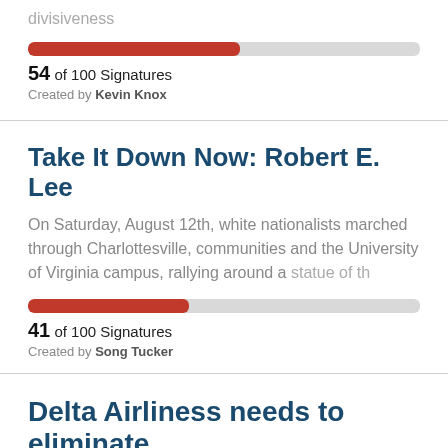divisiveness
[Figure (infographic): Progress bar showing 54 of 100 Signatures, approximately 54% filled in red]
54 of 100 Signatures
Created by Kevin Knox
Take It Down Now: Robert E. Lee
On Saturday, August 12th, white nationalists marched through Charlottesville, communities and the University of Virginia campus, rallying around a statue of th
[Figure (infographic): Progress bar showing 41 of 100 Signatures, approximately 41% filled in red]
41 of 100 Signatures
Created by Song Tucker
Delta Airliness needs to eliminate